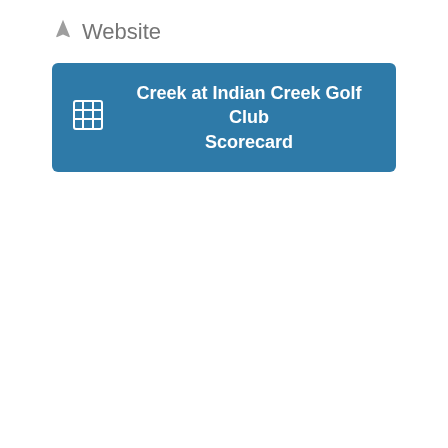Website
Creek at Indian Creek Golf Club Scorecard